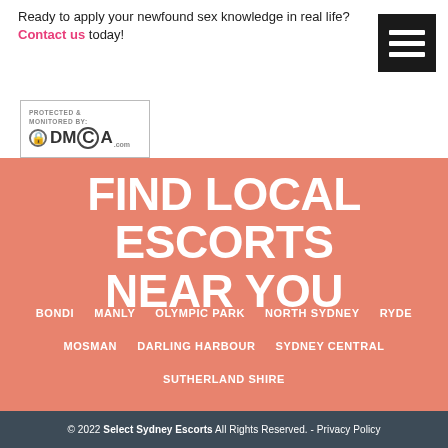Ready to apply your newfound sex knowledge in real life? Contact us today!
[Figure (other): Hamburger menu button icon (black square with three white horizontal bars)]
[Figure (other): DMCA Protected & Monitored By badge with lock icon]
FIND LOCAL ESCORTS NEAR YOU
BONDI
MANLY
OLYMPIC PARK
NORTH SYDNEY
RYDE
MOSMAN
DARLING HARBOUR
SYDNEY CENTRAL
SUTHERLAND SHIRE
© 2022 Select Sydney Escorts All Rights Reserved. - Privacy Policy